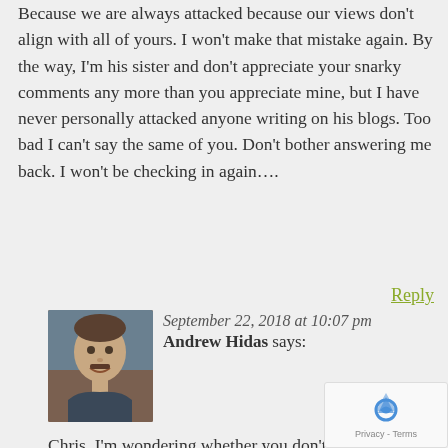Because we are always attacked because our views don't align with all of yours. I won't make that mistake again. By the way, I'm his sister and don't appreciate your snarky comments any more than you appreciate mine, but I have never personally attacked anyone writing on his blogs. Too bad I can't say the same of you. Don't bother answering me back. I won't be checking in again….
Reply
September 22, 2018 at 10:07 pm
Andrew Hidas  says:
Chris, I'm wondering whether you don't see your words of "shameful!" followed by all caps "SHAMEFUL!!!" regarding my post as a personal attack. I'm struggling to find equivalent invective I have directed to you.